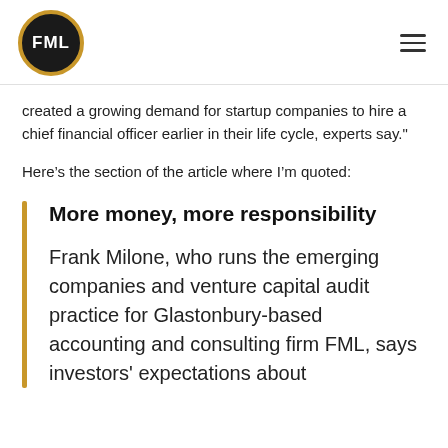FML
created a growing demand for startup companies to hire a chief financial officer earlier in their life cycle, experts say."
Here's the section of the article where I'm quoted:
More money, more responsibility
Frank Milone, who runs the emerging companies and venture capital audit practice for Glastonbury-based accounting and consulting firm FML, says investors' expectations about